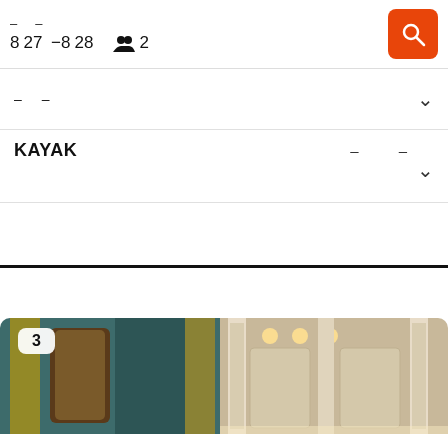- - 8 27 -8 28 👥 2
- -
KAYAK - -
[Figure (photo): Hotel room interior photo showing elegant decor, doorway with gold curtains and columns, with a badge showing the number 3]